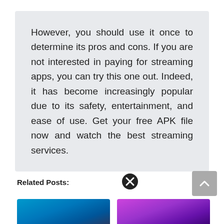However, you should use it once to determine its pros and cons. If you are not interested in paying for streaming apps, you can try this one out. Indeed, it has become increasingly popular due to its safety, entertainment, and ease of use. Get your free APK file now and watch the best streaming services.
Related Posts:
[Figure (other): Close button (X icon) circle]
[Figure (other): Scroll to top button with upward chevron arrow, grey background]
[Figure (photo): Thumbnail image with blue gradient background]
[Figure (photo): Thumbnail image with purple gradient background]